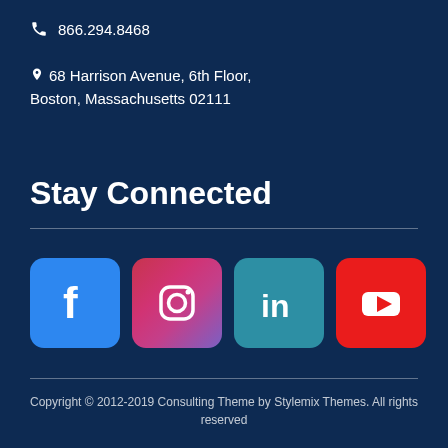866.294.8468
68 Harrison Avenue, 6th Floor, Boston, Massachusetts 02111
Stay Connected
[Figure (logo): Social media icons: Facebook (blue), Instagram (gradient pink/purple), LinkedIn (teal), YouTube (red)]
Copyright © 2012-2019 Consulting Theme by Stylemix Themes. All rights reserved